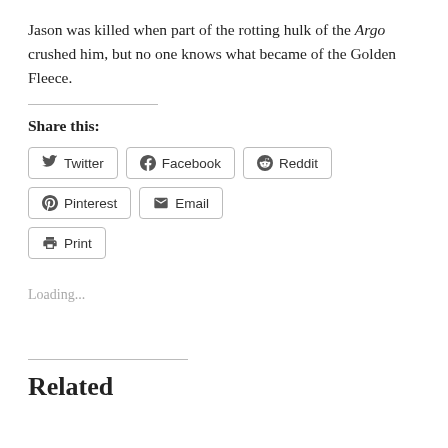Jason was killed when part of the rotting hulk of the Argo crushed him, but no one knows what became of the Golden Fleece.
Share this:
Twitter
Facebook
Reddit
Pinterest
Email
Print
Loading...
Related